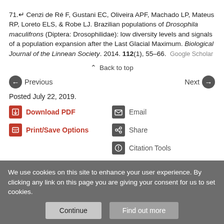71. Cenzi de Ré F, Gustani EC, Oliveira APF, Machado LP, Mateus RP, Loreto ELS, & Robe LJ. Brazilian populations of Drosophila maculifrons (Diptera: Drosophilidae): low diversity levels and signals of a population expansion after the Last Glacial Maximum. Biological Journal of the Linnean Society. 2014. 112(1), 55–66. Google Scholar
Back to top
Previous    Next
Posted July 22, 2019.
Download PDF
Print/Save Options
Email
Share
Citation Tools
Tweet
We use cookies on this site to enhance your user experience. By clicking any link on this page you are giving your consent for us to set cookies.